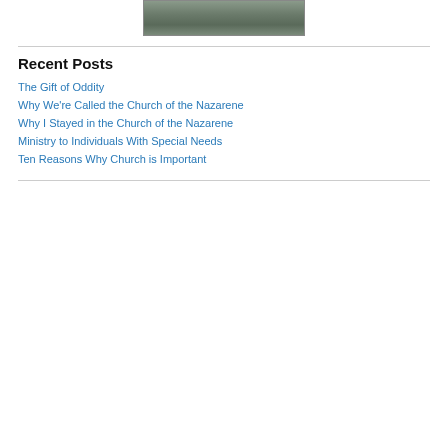[Figure (photo): Partial photo of a vehicle/building on pavement, showing the bottom portion of the image]
Recent Posts
The Gift of Oddity
Why We're Called the Church of the Nazarene
Why I Stayed in the Church of the Nazarene
Ministry to Individuals With Special Needs
Ten Reasons Why Church is Important
Privacy & Cookies: This site uses cookies. By continuing to use this website, you agree to their use. To find out more, including how to control cookies, see here: Cookie Policy